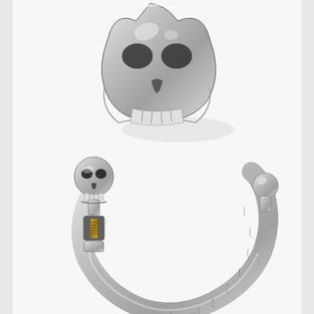[Figure (photo): Product photo of two silver skull-themed jewelry pieces against a white background. Top: a large silver skull ring shown in partial view, highly polished with detailed bone and teeth sculpting. Bottom: a silver skeleton/skull cuff bracelet with an open design, featuring a detailed skull head on one end and a round ball terminus on the other, with a gold-toned screw or bolt accent on the skeleton torso. The bracelet band shows vertebrae-like links with a small 'TGI' or similar hallmark stamp visible on the inner band.]